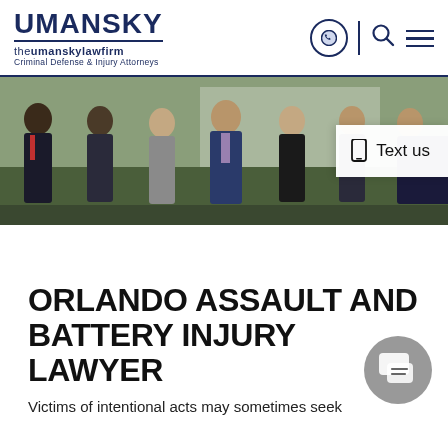[Figure (logo): Umansky Law Firm logo with text 'UMANSKY theumanskylawfirm Criminal Defense & Injury Attorneys' and navigation icons]
[Figure (photo): Group photo of 7 attorneys from The Umansky Law Firm standing outdoors in professional attire]
Text us
ORLANDO ASSAULT AND BATTERY INJURY LAWYER
Victims of intentional acts may sometimes seek